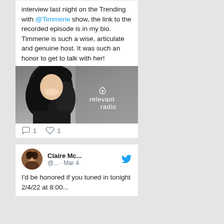interview last night on the Trending with @Timmerie show, the link to the recorded episode is in my bio. Timmerie is such a wise, articulate and genuine host. It was such an honor to get to talk with her!
[Figure (photo): Photo of a smiling young woman with dark hair, overlaid with 'relevant radio' logo with a cross/heart icon in white text]
1 reply, 1 like
Claire Mc... @... · Mar 4
I'd be honored if you tuned in tonight 2/4/22 at 8:00...